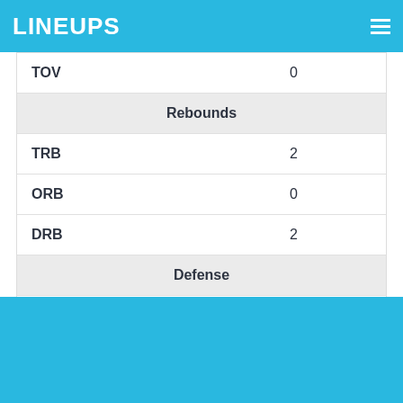LINEUPS
| TOV | 0 |
| Rebounds |  |
| TRB | 2 |
| ORB | 0 |
| DRB | 2 |
| Defense |  |
| STL | 0 |
| BLK | 0 |
| PF | 1 |